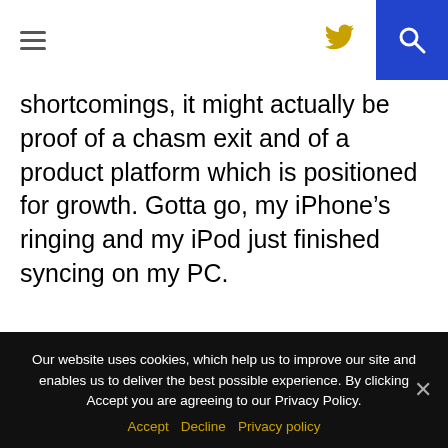[hamburger menu icon] [twitter icon] [search icon]
shortcomings, it might actually be proof of a chasm exit and of a product platform which is positioned for growth. Gotta go, my iPhone’s ringing and my iPod just finished syncing on my PC.
Our website uses cookies, which help us to improve our site and enables us to deliver the best possible experience. By clicking Accept you are agreeing to our Privacy Policy. Accept Decline Privacy policy